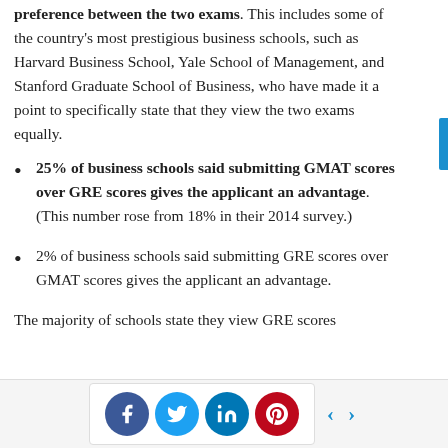preference between the two exams. This includes some of the country's most prestigious business schools, such as Harvard Business School, Yale School of Management, and Stanford Graduate School of Business, who have made it a point to specifically state that they view the two exams equally.
25% of business schools said submitting GMAT scores over GRE scores gives the applicant an advantage. (This number rose from 18% in their 2014 survey.)
2% of business schools said submitting GRE scores over GMAT scores gives the applicant an advantage.
The majority of schools state they view GRE scores